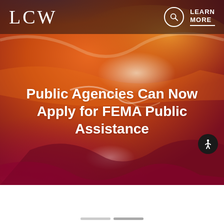LCW
LEARN MORE
[Figure (photo): Aerial photograph showing abstract landscape with orange, red, deep crimson and white swirling patterns, likely a satellite or aerial view of terrain]
Public Agencies Can Now Apply for FEMA Public Assistance